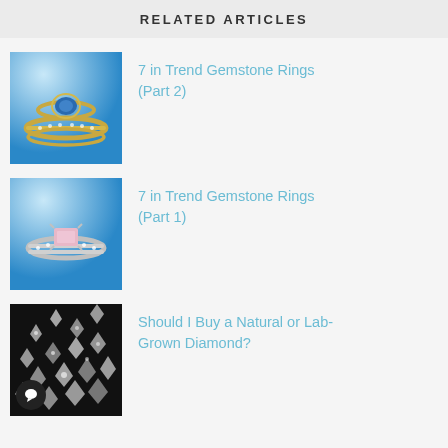RELATED ARTICLES
[Figure (photo): Gold rings with blue gemstone on blue background]
7 in Trend Gemstone Rings (Part 2)
[Figure (photo): Silver ring with pink gemstone on blue background]
7 in Trend Gemstone Rings (Part 1)
[Figure (photo): Loose diamonds on black background]
Should I Buy a Natural or Lab-Grown Diamond?